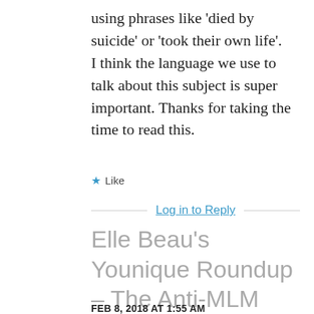using phrases like ‘died by suicide’ or ‘took their own life’. I think the language we use to talk about this subject is super important. Thanks for taking the time to read this.
★ Like
Log in to Reply
Elle Beau’s Younique Roundup – The Anti-MLM Coalition
FEB 8, 2018 AT 1:55 AM